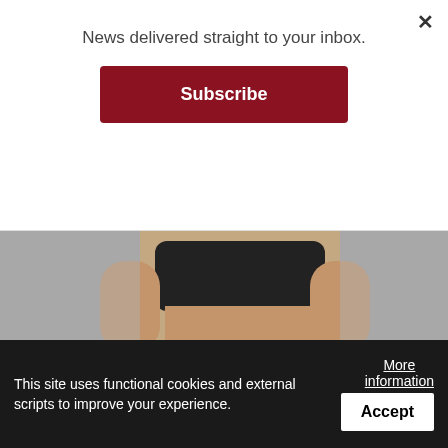News delivered straight to your inbox.
Subscribe
[Figure (photo): Person in black sports bra showing midriff, fitness/workout context]
This new Amazon Nitric Oxide supplement can help all ages and lifestyles proclaim victory over...
Clinical and Herbal Innovations Inc.
Learn More
[Figure (photo): Person wearing pink yoga pants with red yoga mat or bag, partial view]
This site uses functional cookies and external scripts to improve your experience.
More information
Accept